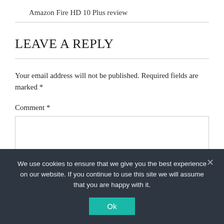Amazon Fire HD 10 Plus review
LEAVE A REPLY
Your email address will not be published. Required fields are marked *
Comment *
We use cookies to ensure that we give you the best experience on our website. If you continue to use this site we will assume that you are happy with it.
Ok